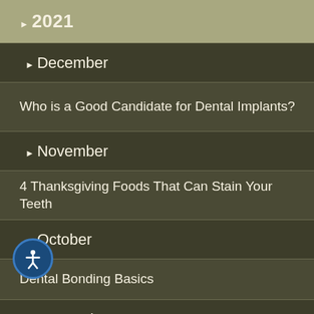▶2021
▶December
Who is a Good Candidate for Dental Implants?
▶November
4 Thanksgiving Foods That Can Stain Your Teeth
▶October
Dental Bonding Basics
▶September
Do You Need To Brush Porcelain Veneers?